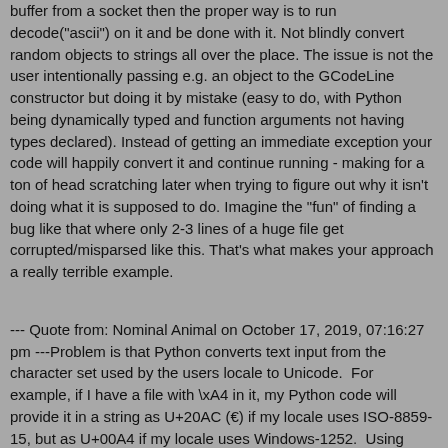buffer from a socket then the proper way is to run decode("ascii") on it and be done with it. Not blindly convert random objects to strings all over the place. The issue is not the user intentionally passing e.g. an object to the GCodeLine constructor but doing it by mistake (easy to do, with Python being dynamically typed and function arguments not having types declared). Instead of getting an immediate exception your code will happily convert it and continue running - making for a ton of head scratching later when trying to figure out why it isn't doing what it is supposed to do. Imagine the "fun" of finding a bug like that where only 2-3 lines of a huge file get corrupted/misparsed like this. That's what makes your approach a really terrible example.
--- Quote from: Nominal Animal on October 17, 2019, 07:16:27 pm ---Problem is that Python converts text input from the character set used by the users locale to Unicode.  For example, if I have a file with \xA4 in it, my Python code will provide it in a string as U+20AC (€) if my locale uses ISO-8859-15, but as U+00A4 if my locale uses Windows-1252.  Using UTF-8, Python will raise UnicodeDecodeError.  Because of this, I wanted the code to strip only those Unicode characters that correspond to ASCII whitespace.
--- End quote ---